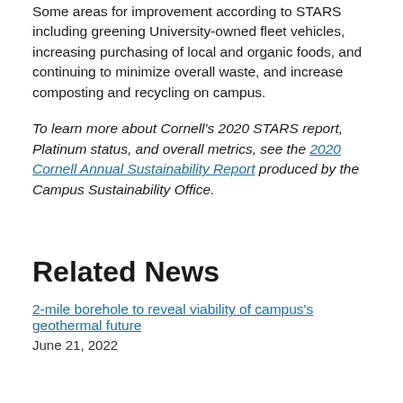Some areas for improvement according to STARS including greening University-owned fleet vehicles, increasing purchasing of local and organic foods, and continuing to minimize overall waste, and increase composting and recycling on campus.
To learn more about Cornell's 2020 STARS report, Platinum status, and overall metrics, see the 2020 Cornell Annual Sustainability Report produced by the Campus Sustainability Office.
Related News
2-mile borehole to reveal viability of campus's geothermal future
June 21, 2022